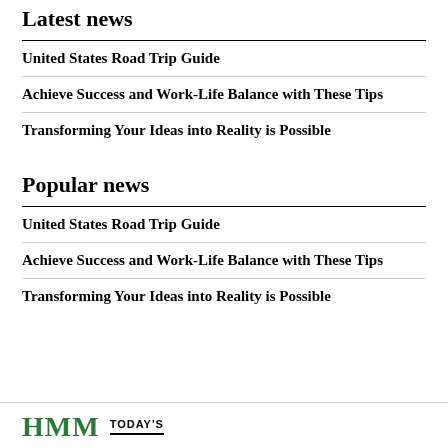Latest news
United States Road Trip Guide
Achieve Success and Work-Life Balance with These Tips
Transforming Your Ideas into Reality is Possible
Popular news
United States Road Trip Guide
Achieve Success and Work-Life Balance with These Tips
Transforming Your Ideas into Reality is Possible
HMM TODAY'S